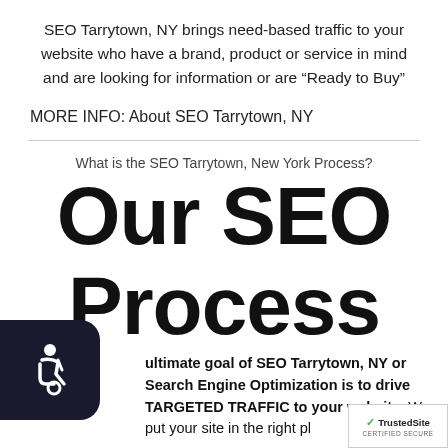SEO Tarrytown, NY brings need-based traffic to your website who have a brand, product or service in mind and are looking for information or are “Ready to Buy”
MORE INFO: About SEO Tarrytown, NY
What is the SEO Tarrytown, New York Process?
Our SEO Process
The ultimate goal of SEO Tarrytown, NY or Search Engine Optimization is to drive TARGETED TRAFFIC to your website. We put your site in the right pl…